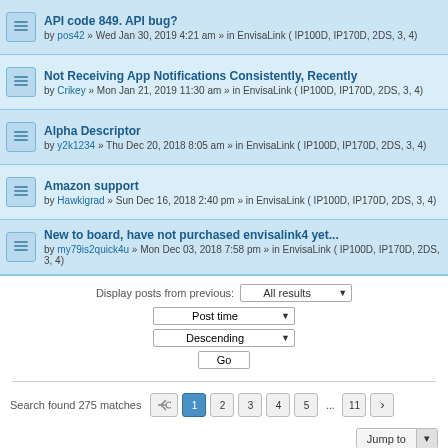API code 849. API bug? by pos42 » Wed Jan 30, 2019 4:21 am » in EnvisaLink ( IP100D, IP170D, 2DS, 3, 4)
Not Receiving App Notifications Consistently, Recently by Crikey » Mon Jan 21, 2019 11:30 am » in EnvisaLink ( IP100D, IP170D, 2DS, 3, 4)
Alpha Descriptor by y2k1234 » Thu Dec 20, 2018 8:05 am » in EnvisaLink ( IP100D, IP170D, 2DS, 3, 4)
Amazon support by Hawkigrad » Sun Dec 16, 2018 2:40 pm » in EnvisaLink ( IP100D, IP170D, 2DS, 3, 4)
New to board, have not purchased envisalink4 yet... by my79is2quick4u » Mon Dec 03, 2018 7:58 pm » in EnvisaLink ( IP100D, IP170D, 2DS, 3, 4)
Display posts from previous: All results
Post time
Descending
Go
Search found 275 matches  1 2 3 4 5 ... 11 >
Jump to
Board index  Contact us  The team
Powered by phpBB® Forum Software © phpBB Limited